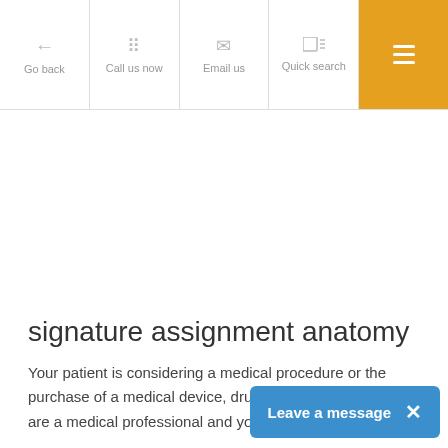Go back | Call us now | Email us | Quick search | [menu]
signature assignment anatomy
Your patient is considering a medical procedure or the purchase of a medical device, drug, or supplement. You are a medical professional and you must give tho